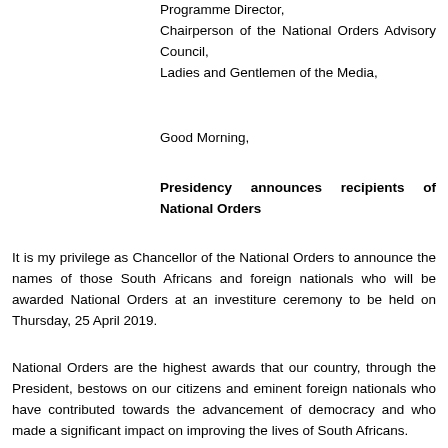Programme Director,
Chairperson of the National Orders Advisory Council,
Ladies and Gentlemen of the Media,
Good Morning,
Presidency announces recipients of National Orders
It is my privilege as Chancellor of the National Orders to announce the names of those South Africans and foreign nationals who will be awarded National Orders at an investiture ceremony to be held on Thursday, 25 April 2019.
National Orders are the highest awards that our country, through the President, bestows on our citizens and eminent foreign nationals who have contributed towards the advancement of democracy and who made a significant impact on improving the lives of South Africans.
The National Orders also recognise the contributions made by individuals who contributed and continue to contribute to the